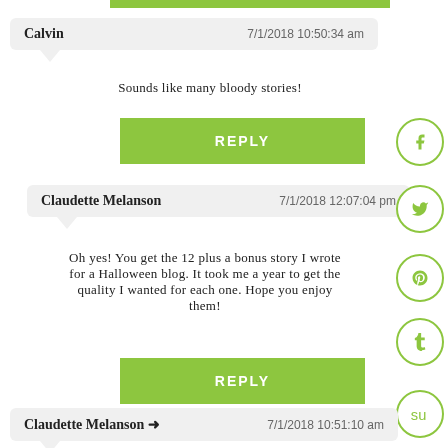[Figure (screenshot): Top green decorative bar]
Calvin    7/1/2018 10:50:34 am
Sounds like many bloody stories!
REPLY
Claudette Melanson    7/1/2018 12:07:04 pm
Oh yes! You get the 12 plus a bonus story I wrote for a Halloween blog. It took me a year to get the quality I wanted for each one. Hope you enjoy them!
REPLY
Claudette Melanson →    7/1/2018 10:51:10 am